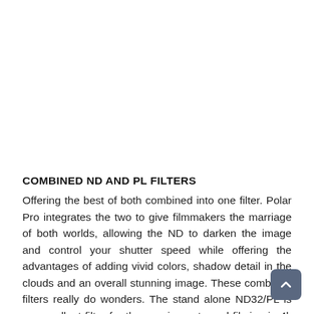COMBINED ND AND PL FILTERS
Offering the best of both combined into one filter. Polar Pro integrates the two to give filmmakers the marriage of both worlds, allowing the ND to darken the image and control your shutter speed while offering the advantages of adding vivid colors, shadow detail in the clouds and an overall stunning image. These combined filters really do wonders. The stand alone ND32/PL is an excellent filter for those using auto and filming in 4k video on bright days. If I had to pick one filter to use this would be it, but this certainly doesn't replace the entire six-pack kit.